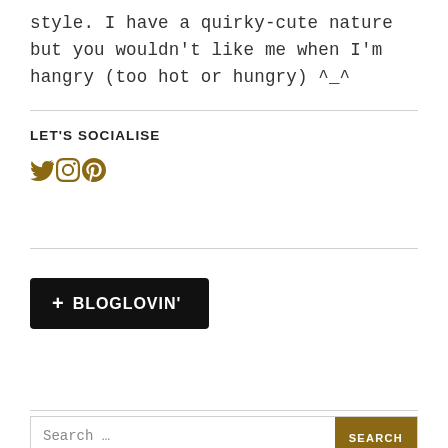style. I have a quirky-cute nature but you wouldn't like me when I'm hangry (too hot or hungry) ^_^
LET'S SOCIALISE
[Figure (illustration): Three social media icons (Twitter bird, Instagram camera, Pinterest P) in golden/dark yellow color]
[Figure (illustration): Bloglovin follow button — black rounded rectangle with white text '+ BLOGLOVIN']
Search ...
SEARCH